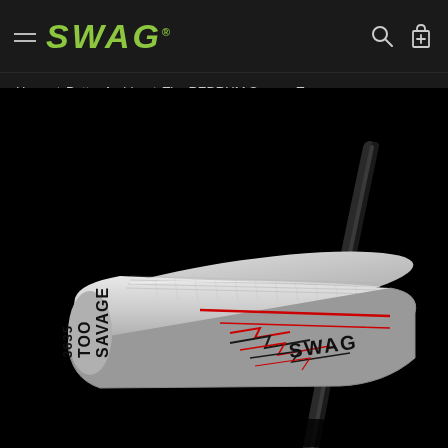SWAG — Home | Putter Archive | The REDRUM Savage Too
[Figure (photo): Close-up product photo of the SWAG Savage Too 3635 golf putter head against a black background. The silver/chrome putter head shows 'SAVAGE TOO 3635' text on the left side and 'SWAG' branding on the right, with red and black lightning-bolt alignment lines on the face. A dark golf shaft curves upward in the background.]